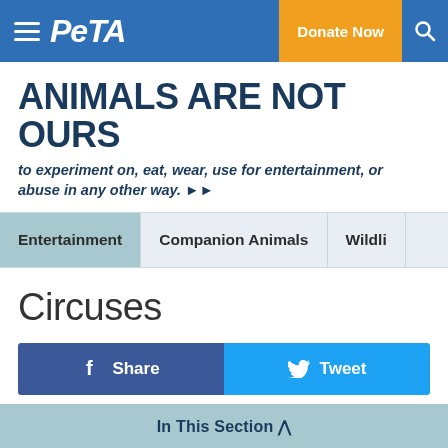PETA | Donate Now
ANIMALS ARE NOT OURS
to experiment on, eat, wear, use for entertainment, or abuse in any other way. ▶▶
Entertainment | Companion Animals | Wildlife
Circuses
Share | Tweet
Elephants, tigers, and other animals that circuses use to entertain audiences do not stand on their heads, jump through hoops, or balance on pedestals because they want
In This Section ^